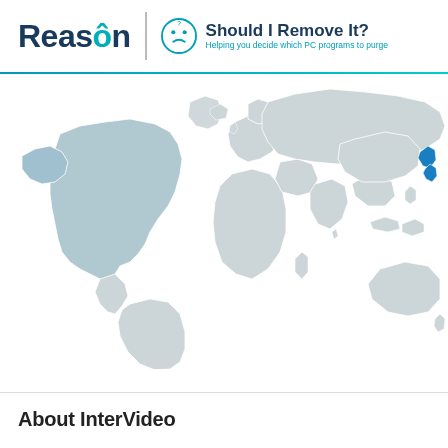Reason | Should I Remove It? — Helping you decide which PC programs to purge
[Figure (map): World map showing geographic distribution of users. USA and Alaska highlighted in light blue, Japan highlighted in blue. Rest of world in light grey.]
About InterVideo